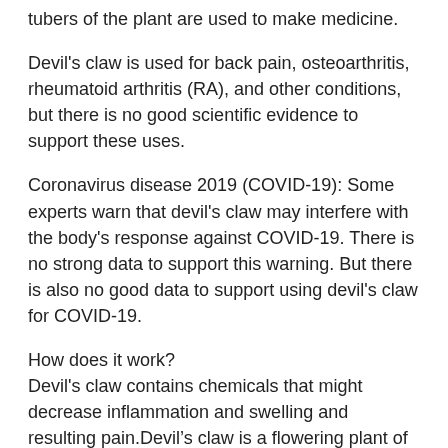tubers of the plant are used to make medicine.
Devil's claw is used for back pain, osteoarthritis, rheumatoid arthritis (RA), and other conditions, but there is no good scientific evidence to support these uses.
Coronavirus disease 2019 (COVID-19): Some experts warn that devil's claw may interfere with the body's response against COVID-19. There is no strong data to support this warning. But there is also no good data to support using devil's claw for COVID-19.
How does it work?
Devil's claw contains chemicals that might decrease inflammation and swelling and resulting pain.Devil’s claw is a flowering plant of the sesame family. Its root packs several active plant compounds and is used as an herbal supplement.
In particular, devil's claw contains iridoid glycosides, a class of compounds which has demonstrated anti-inflammatory effects .
Some but not all studies suggest that iridoid glycosides may